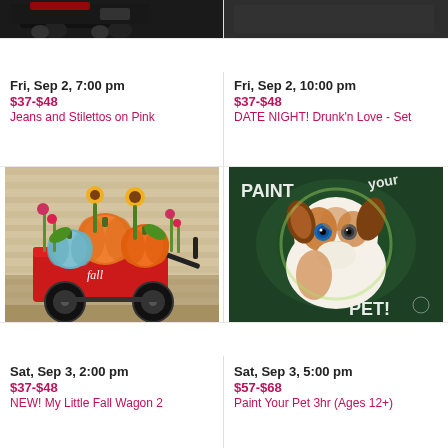[Figure (photo): Partial top image on left - dark background with car/motorcycle silhouette]
[Figure (photo): Partial top image on right - dark background with painting]
Fri, Sep 2, 7:00 pm
$37-$48
Jeans and Stilettos on Pink
Fri, Sep 2, 10:00 pm
$37-$48
DATE NIGHT! Drunk'n Love - Set
[Figure (illustration): Painting of a red wagon with fall pumpkins and sunflowers, labeled 'fall']
[Figure (illustration): Painting of a dog (Australian Shepherd) with text 'PAINT YOUR PET!' on dark green background]
Sat, Sep 3, 2:00 pm
$37-$48
NEW! My Little Fall Wagon 2
Sat, Sep 3, 5:00 pm
$57-$68
Paint Your Pet 3hr (Ages 12+)